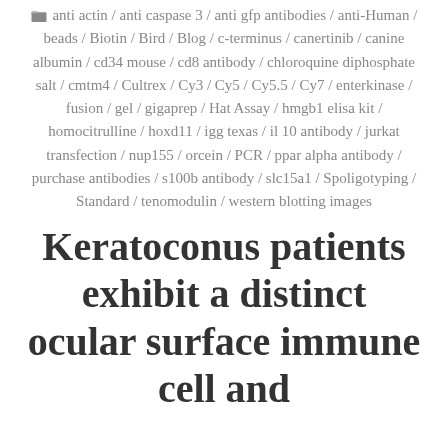anti actin / anti caspase 3 / anti gfp antibodies / anti-Human / beads / Biotin / Bird / Blog / c-terminus / canertinib / canine albumin / cd34 mouse / cd8 antibody / chloroquine diphosphate salt / cmtm4 / Cultrex / Cy3 / Cy5 / Cy5.5 / Cy7 / enterkinase / fusion / gel / gigaprep / Hat Assay / hmgb1 elisa kit / homocitrulline / hoxd11 / igg texas / il 10 antibody / jurkat transfection / nup155 / orcein / PCR / ppar alpha antibody / purchase antibodies / s100b antibody / slc15a1 / Spoligotyping / Standard / tenomodulin / western blotting images
Keratoconus patients exhibit a distinct ocular surface immune cell and